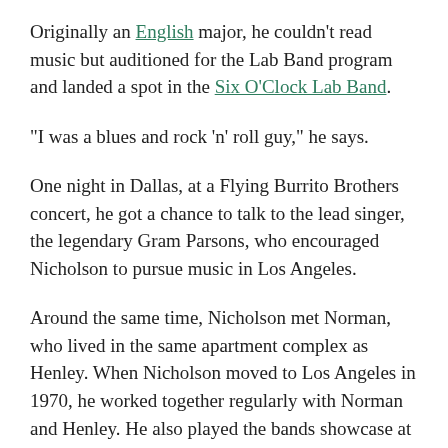Originally an English major, he couldn't read music but auditioned for the Lab Band program and landed a spot in the Six O'Clock Lab Band.
"I was a blues and rock 'n' roll guy," he says.
One night in Dallas, at a Flying Burrito Brothers concert, he got a chance to talk to the lead singer, the legendary Gram Parsons, who encouraged Nicholson to pursue music in Los Angeles.
Around the same time, Nicholson met Norman, who lived in the same apartment complex as Henley. When Nicholson moved to Los Angeles in 1970, he worked together regularly with Norman and Henley. He also played the bands showcase at the Troubador. Henley played on a few demos with Nicholson's band, then formed a band that eventually became The Eagles and reached massive success on the radio.
Norman became a member of Nicholson's band, Uncle Jim's